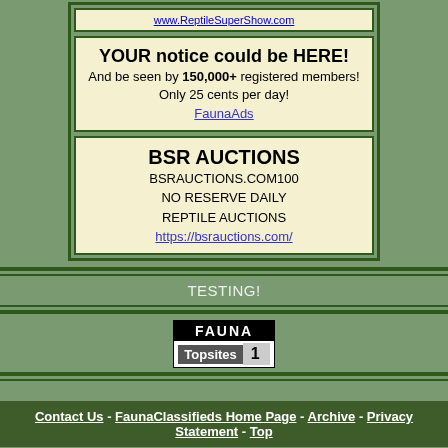[Figure (screenshot): Ad box showing a URL link www.ReptileSuperShow.com on yellow background with green border]
[Figure (screenshot): Ad box: YOUR notice could be HERE! And be seen by 150,000+ registered members! Only 25 cents per day! FaunaAds]
[Figure (screenshot): Ad box: BSR AUCTIONS, BSRAUCTIONS.COM100, NO RESERVE DAILY REPTILE AUCTIONS, https://bsrauctions.com/]
TESTING!
[Figure (logo): FAUNA Topsites badge with rank 1]
Contact Us - FaunaClassifieds Home Page - Archive - Privacy Statement - Top
Powered by vBulletin® Version 3.7.3
[Figure (screenshot): Seamless food delivery advertisement banner with pizza image, seamless logo in red, ORDER NOW button]